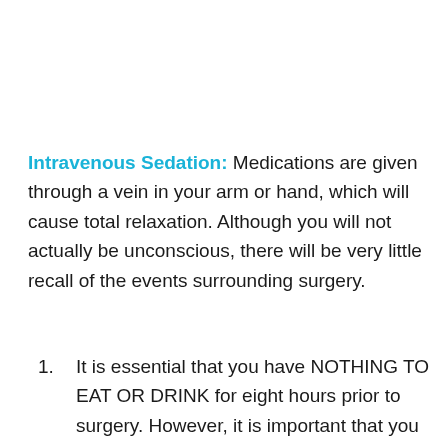Intravenous Sedation: Medications are given through a vein in your arm or hand, which will cause total relaxation. Although you will not actually be unconscious, there will be very little recall of the events surrounding surgery.
It is essential that you have NOTHING TO EAT OR DRINK for eight hours prior to surgery. However, it is important that you take any regular medications or pre-medication with a